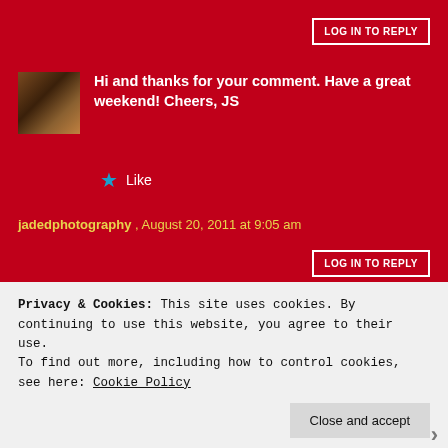LOG IN TO REPLY
Hi and thanks for your comment. Have a great weekend! Cheers, JS
★ Like
jadedphotography , August 20, 2011 at 9:05 am
LOG IN TO REPLY
Really great article with very interesting information. You might want to follow up to this topic!?! 2011
Privacy & Cookies: This site uses cookies. By continuing to use this website, you agree to their use.
To find out more, including how to control cookies, see here: Cookie Policy
Close and accept